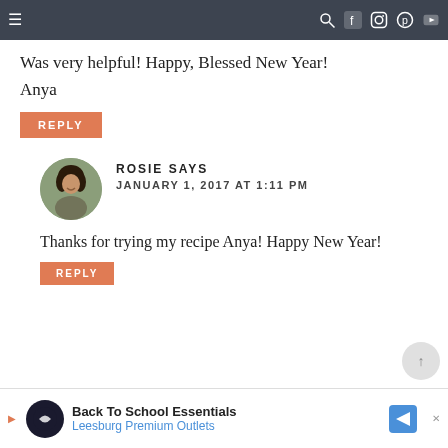Navigation bar with hamburger menu and social icons
Was very helpful! Happy, Blessed New Year!
Anya
REPLY
ROSIE SAYS
JANUARY 1, 2017 AT 1:11 PM
Thanks for trying my recipe Anya! Happy New Year!
REPLY
[Figure (infographic): Advertisement banner: Back To School Essentials - Leesburg Premium Outlets with logo and navigation arrow icon]